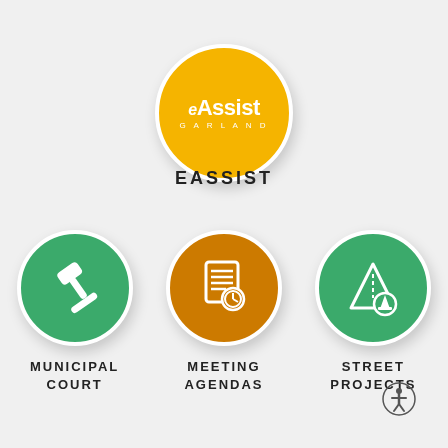[Figure (logo): eAssist Garland logo — golden yellow circle with white text 'eAssist GARLAND']
EASSIST
[Figure (infographic): Three circular icons in a row: green circle with gavel (Municipal Court), orange circle with meeting agenda/clock (Meeting Agendas), green circle with road construction sign (Street Projects)]
MUNICIPAL COURT
MEETING AGENDAS
STREET PROJECTS